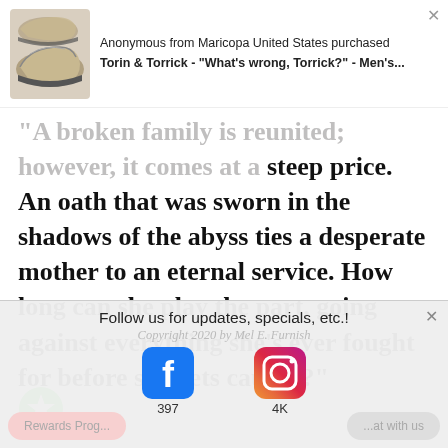[Figure (screenshot): Notification bar showing shoe product image and purchase notification: 'Anonymous from Maricopa United States purchased Torin & Torrick - "What's wrong, Torrick?" - Men's...']
"A broken family is reunited; however, it comes at a steep price. An oath that was sworn in the shadows of the abyss ties a desperate mother to an eternal service. How long can she play the part, going against everything she’s ever fought for before she gets caught?"
[Figure (other): Green circle star/bookmark badge icon]
Follow us for updates, specials, etc.!
Copyright 2020 by Mel E. Furnish
[Figure (other): Facebook icon with follower count 397 and Instagram icon with follower count 4K]
Rewards Prog...
...at with us